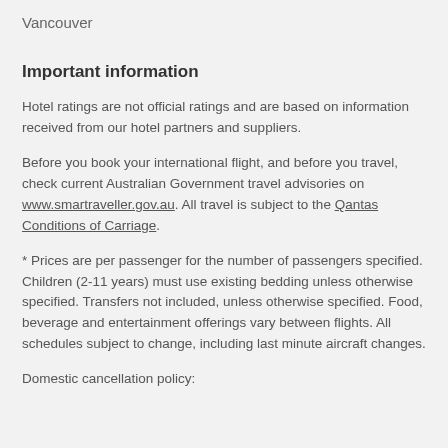Vancouver
Important information
Hotel ratings are not official ratings and are based on information received from our hotel partners and suppliers.
Before you book your international flight, and before you travel, check current Australian Government travel advisories on www.smartraveller.gov.au. All travel is subject to the Qantas Conditions of Carriage.
* Prices are per passenger for the number of passengers specified. Children (2-11 years) must use existing bedding unless otherwise specified. Transfers not included, unless otherwise specified. Food, beverage and entertainment offerings vary between flights. All schedules subject to change, including last minute aircraft changes.
Domestic cancellation policy: